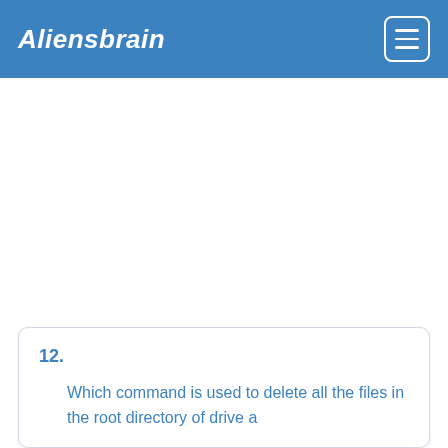Aliensbrain
12.
Which command is used to delete all the files in the root directory of drive a